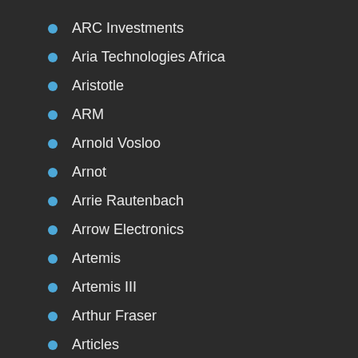ARC Investments
Aria Technologies Africa
Aristotle
ARM
Arnold Vosloo
Arnot
Arrie Rautenbach
Arrow Electronics
Artemis
Artemis III
Arthur Fraser
Articles
artificial intelligence
artificial intelligence (AI)
Aoshi Linux